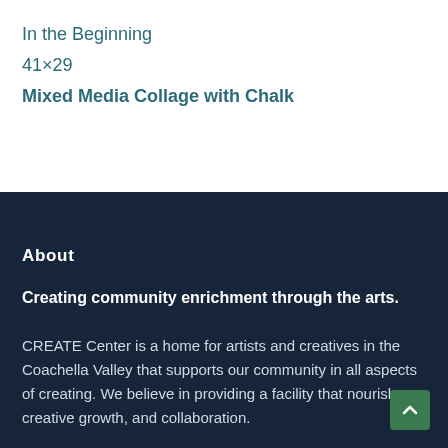In the Beginning
41×29
Mixed Media Collage with Chalk
About
Creating community enrichment through the arts.
CREATE Center is a home for artists and creatives in the Coachella Valley that supports our community in all aspects of creating. We believe in providing a facility that nourishes creative growth, and collaboration.